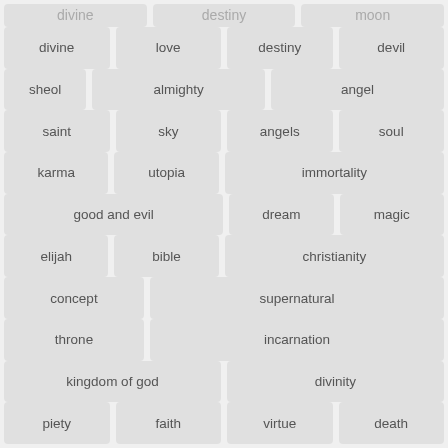divine
love
destiny
devil
sheol
almighty
angel
saint
sky
angels
soul
karma
utopia
immortality
good and evil
dream
magic
elijah
bible
christianity
concept
supernatural
throne
incarnation
kingdom of god
divinity
piety
faith
virtue
death